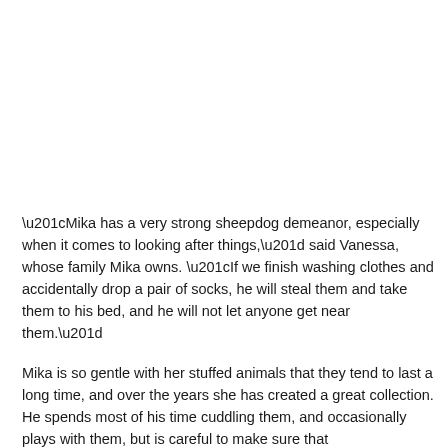“Mika has a very strong sheepdog demeanor, especially when it comes to looking after things,” said Vanessa, whose family Mika owns. “If we finish washing clothes and accidentally drop a pair of socks, he will steal them and take them to his bed, and he will not let anyone get near them.”
Mika is so gentle with her stuffed animals that they tend to last a long time, and over the years she has created a great collection. He spends most of his time cuddling them, and occasionally plays with them, but is careful to make sure that